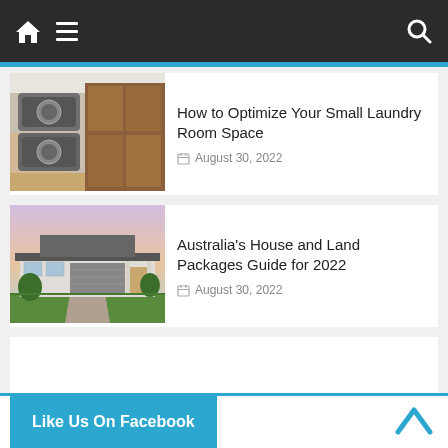[Figure (screenshot): Website navigation bar with home icon, hamburger menu, and search icon on dark background]
[Figure (photo): Interior photo of a small laundry room with stacked washer/dryer and wooden cabinets]
How to Optimize Your Small Laundry Room Space
August 30, 2022
[Figure (photo): Exterior photo of a modern Australian house with garage at dusk]
Australia's House and Land Packages Guide for 2022
August 30, 2022
Like Us On Facebook